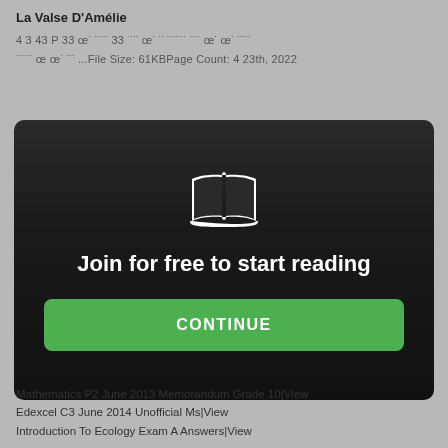La Valse D'Amélie
4 3 43 P 33 œ· ··· ··· 33 ···· œ· ·· ···· ··· œ· œ· ·····
····· œ œ· ···  ...File Size: 61KBPage Count: 4 23th, 2022
[Figure (screenshot): Modal dialog with dark background, book icon, 'Join for free to start reading' text, and green CONTINUE button]
Mathematics P2 June 2013 Memorandum Grade 10|View
Edexcel C3 June 2014 Unofficial Ms|View
Introduction To Ecology Exam A Answers|View